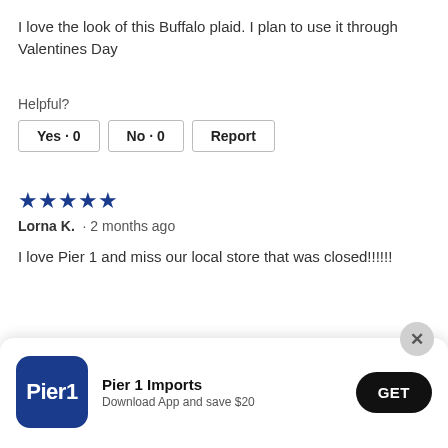I love the look of this Buffalo plaid. I plan to use it through Valentines Day
Helpful?
Yes · 0   No · 0   Report
★★★★★
Lorna K. · 2 months ago
I love Pier 1 and miss our local store that was closed!!!!!!
[Figure (infographic): Pier 1 Imports app download banner with logo, app name, 'Download App and save $20' text, and a GET button]